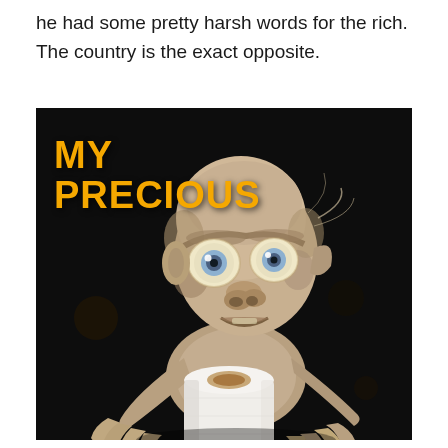he had some pretty harsh words for the rich. The country is the exact opposite.
[Figure (illustration): A meme image showing Gollum from Lord of the Rings holding a roll of toilet paper against a dark background. Bold yellow text on the left reads 'MY PRECIOUS'.]